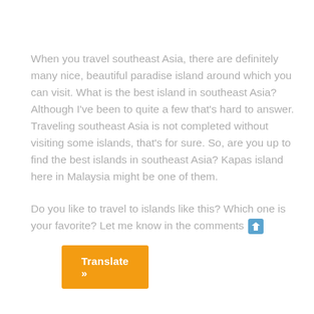When you travel southeast Asia, there are definitely many nice, beautiful paradise island around which you can visit. What is the best island in southeast Asia? Although I've been to quite a few that's hard to answer. Traveling southeast Asia is not completed without visiting some islands, that's for sure. So, are you up to find the best islands in southeast Asia? Kapas island here in Malaysia might be one of them.

Do you like to travel to islands like this? Which one is your favorite? Let me know in the comments ⬇
Translate »